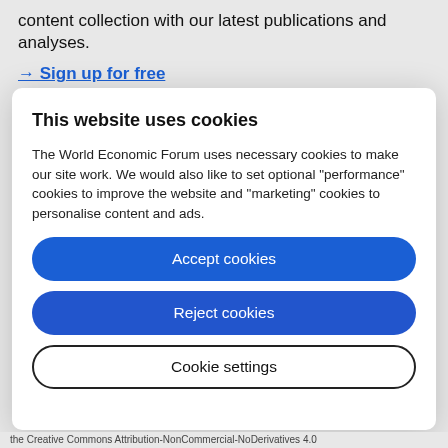content collection with our latest publications and analyses.
→ Sign up for free
This website uses cookies
The World Economic Forum uses necessary cookies to make our site work. We would also like to set optional "performance" cookies to improve the website and "marketing" cookies to personalise content and ads.
Accept cookies
Reject cookies
Cookie settings
the Creative Commons Attribution-NonCommercial-NoDerivatives 4.0